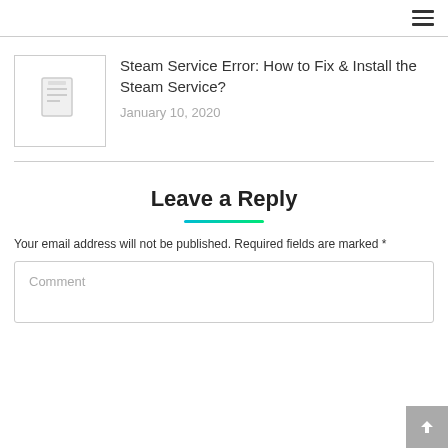≡
[Figure (illustration): Thumbnail placeholder with document icon]
Steam Service Error: How to Fix & Install the Steam Service?
January 10, 2020
Leave a Reply
Your email address will not be published. Required fields are marked *
Comment